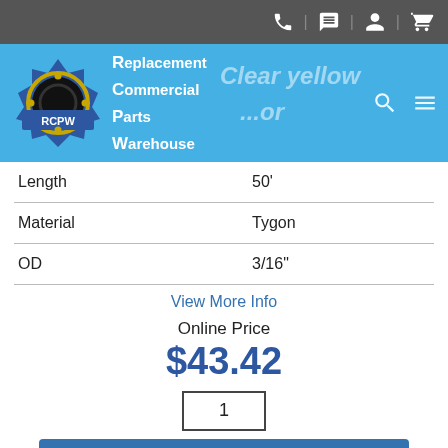[Figure (screenshot): RCPW (Replacement Commercial Parts Warehouse) website header with logo and navigation icons]
| Attribute | Value |
| --- | --- |
| Length | 50' |
| Material | Tygon |
| OD | 3/16" |
View More Info
Online Price
$43.42
1
Add To Cart
Warning Cancer and Reproductive Harm www.P65Warnings.ca.gov